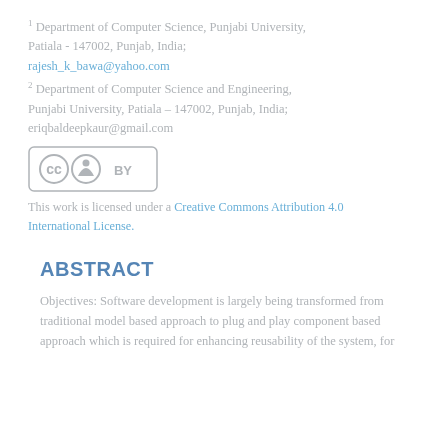1 Department of Computer Science, Punjabi University, Patiala - 147002, Punjab, India; rajesh_k_bawa@yahoo.com
2 Department of Computer Science and Engineering, Punjabi University, Patiala – 147002, Punjab, India; eriqbaldeepkaur@gmail.com
[Figure (logo): Creative Commons Attribution (CC BY) license logo]
This work is licensed under a Creative Commons Attribution 4.0 International License.
ABSTRACT
Objectives: Software development is largely being transformed from traditional model based approach to plug and play component based approach which is required for enhancing reusability of the system, for